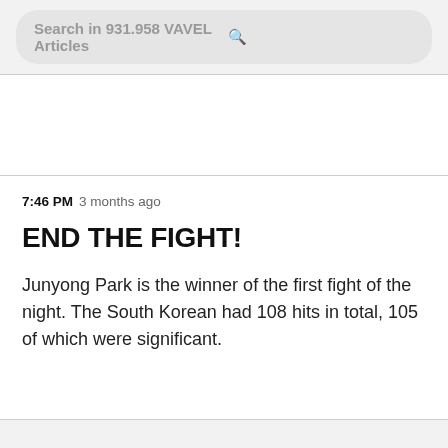Search in 931.958 VAVEL Articles
7:46 PM  3 months ago
END THE FIGHT!
Junyong Park is the winner of the first fight of the night. The South Korean had 108 hits in total, 105 of which were significant.